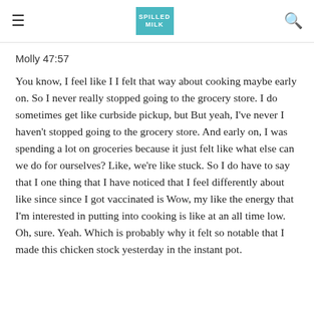≡  SPILLED MILK  🔍
Molly 47:57
You know, I feel like I I felt that way about cooking maybe early on. So I never really stopped going to the grocery store. I do sometimes get like curbside pickup, but But yeah, I've never I haven't stopped going to the grocery store. And early on, I was spending a lot on groceries because it just felt like what else can we do for ourselves? Like, we're like stuck. So I do have to say that I one thing that I have noticed that I feel differently about like since since I got vaccinated is Wow, my like the energy that I'm interested in putting into cooking is like at an all time low. Oh, sure. Yeah. Which is probably why it felt so notable that I made this chicken stock yesterday in the instant pot.